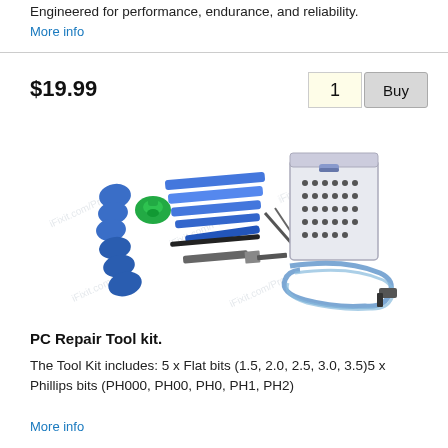Engineered for performance, endurance, and reliability.
More info
$19.99
1
Buy
[Figure (photo): PC Repair Tool kit with blue pry tools, green suction cup, screwdriver bits set, tweezers, prying picks, and anti-static wrist strap]
PC Repair Tool kit.
The Tool Kit includes: 5 x Flat bits (1.5, 2.0, 2.5, 3.0, 3.5)5 x Phillips bits (PH000, PH00, PH0, PH1, PH2)
More info